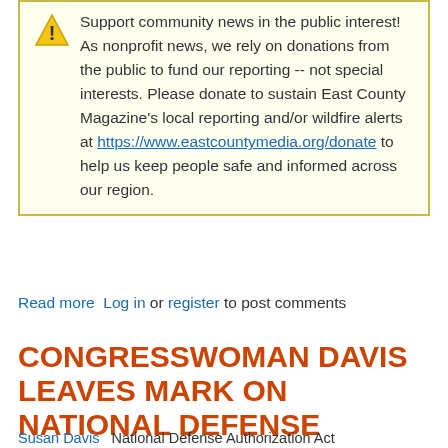Support community news in the public interest! As nonprofit news, we rely on donations from the public to fund our reporting -- not special interests. Please donate to sustain East County Magazine's local reporting and/or wildfire alerts at https://www.eastcountymedia.org/donate to help us keep people safe and informed across our region.
Read more  Log in or register to post comments
CONGRESSWOMAN DAVIS LEAVES MARK ON NATIONAL DEFENSE AUTHORIZATION ACT
Susan Davis   National Defense Authorization Act